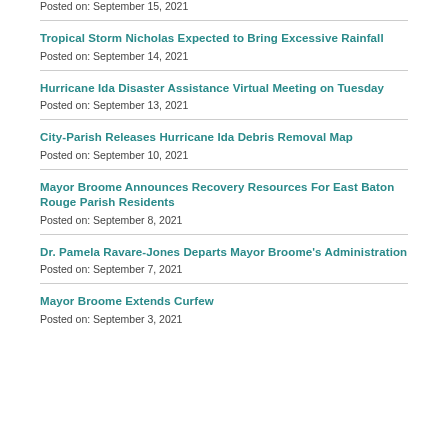Posted on: September 15, 2021
Tropical Storm Nicholas Expected to Bring Excessive Rainfall
Posted on: September 14, 2021
Hurricane Ida Disaster Assistance Virtual Meeting on Tuesday
Posted on: September 13, 2021
City-Parish Releases Hurricane Ida Debris Removal Map
Posted on: September 10, 2021
Mayor Broome Announces Recovery Resources For East Baton Rouge Parish Residents
Posted on: September 8, 2021
Dr. Pamela Ravare-Jones Departs Mayor Broome's Administration
Posted on: September 7, 2021
Mayor Broome Extends Curfew
Posted on: September 3, 2021